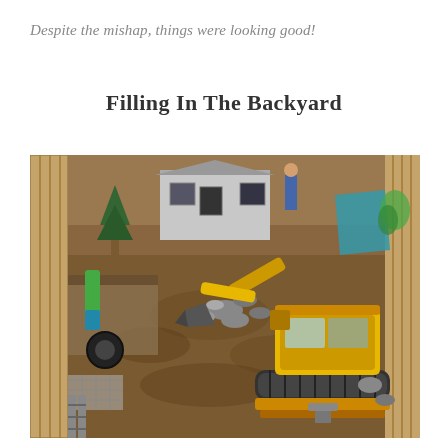Despite the mishap, things were looking good!
Filling In The Backyard
[Figure (photo): Aerial view of a backyard under excavation. A yellow Yanmar mini excavator sits in the center-right foreground on disturbed dirt. The excavator arm reaches toward a pile of rocks and debris in the middle of the yard. In the background is a small grey shed or outbuilding. The left side shows a fallen or leaning shed with scattered items including a children's slide, tires, and metal fencing. The yard is enclosed by wooden fences on the sides. A person stands in the upper background near the right fence. Blue tarp visible upper right.]